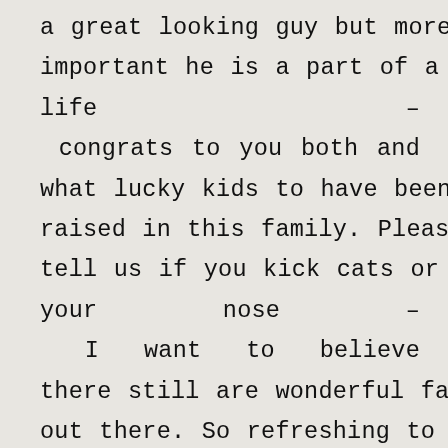a great looking guy but more important he is a part of a great life – congrats to you both and what lucky kids to have been raised in this family. Please don't tell us if you kick cats or pick your nose – I want to believe there still are wonderful families out there. So refreshing to read about good news instead of all